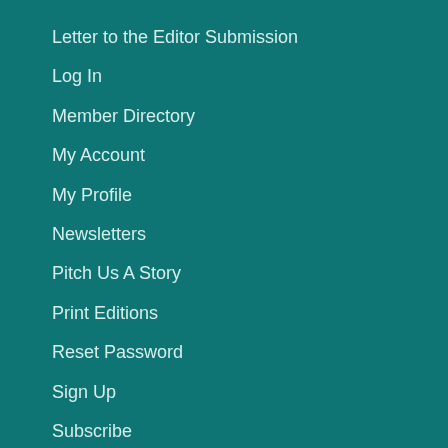Letter to the Editor Submission
Log In
Member Directory
My Account
My Profile
Newsletters
Pitch Us A Story
Print Editions
Reset Password
Sign Up
Subscribe
What is GCM?
Where to buy a newspaper